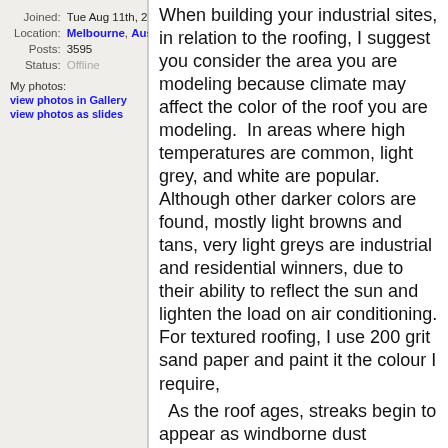Joined: Tue Aug 11th, 2009
Location: Melbourne, Australia
Posts: 3595
Status: Offline
My photos:
view photos in Gallery
view photos as slides
When building your industrial sites, in relation to the roofing, I suggest you consider the area you are modeling because climate may affect the color of the roof you are modeling.  In areas where high temperatures are common, light grey, and white are popular.  Although other darker colors are found, mostly light browns and tans, very light greys are industrial and residential winners, due to their ability to reflect the sun and lighten the load on air conditioning. For textured roofing, I use 200 grit sand paper and paint it the colour I require,
  As the roof ages, streaks begin to appear as windborne dust accumulation and loss of stone washed away by heavy rain occurs, revealing